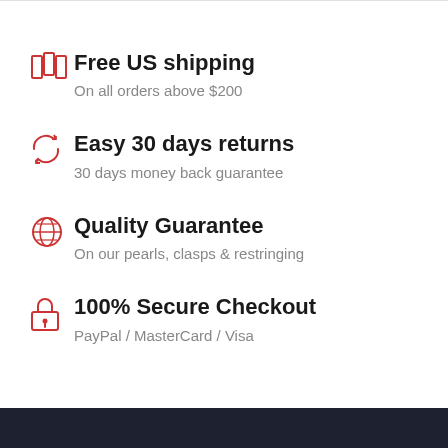Free US shipping
On all orders above $200
Easy 30 days returns
30 days money back guarantee
Quality Guarantee
On our pearls, clasps & restringing
100% Secure Checkout
PayPal / MasterCard / Visa